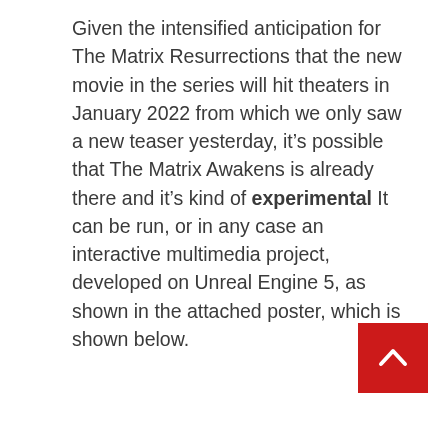Given the intensified anticipation for The Matrix Resurrections that the new movie in the series will hit theaters in January 2022 from which we only saw a new teaser yesterday, it’s possible that The Matrix Awakens is already there and it’s kind of experimental It can be run, or in any case an interactive multimedia project, developed on Unreal Engine 5, as shown in the attached poster, which is shown below.
[Figure (other): Red square scroll-to-top button with a white upward-pointing chevron arrow]